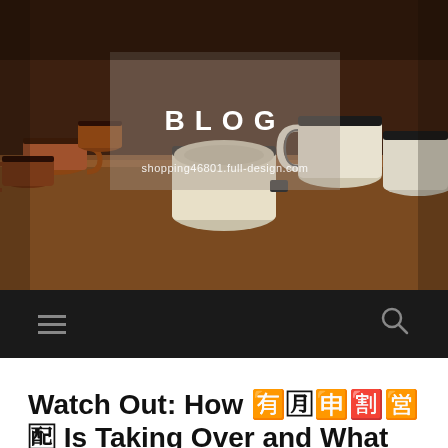[Figure (photo): Hero image showing several mugs — copper/brown enamel mugs on the left and white enamel mugs with black rims on the right, arranged on a wooden table. Semi-transparent overlay box in the center contains the blog title and URL.]
BLOG
shopping46801.full-design.com
≡  🔍
Watch Out: How 🈶🈷🈸🈹🈺🈻 Is Taking Over and What to Do About It